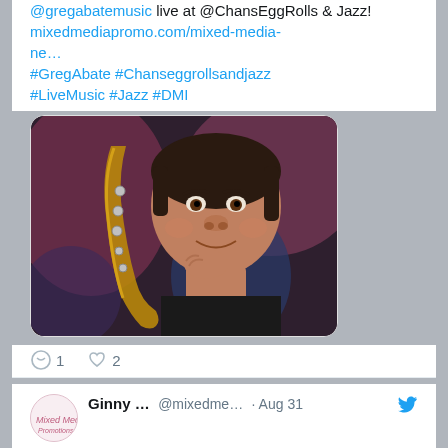@gregabatemusic live at @ChansEggRolls & Jazz! mixedmediapromo.com/mixed-media-ne… #GregAbate #Chanseggrollsandjazz #LiveMusic #Jazz #DMI
[Figure (photo): Photo of a middle-aged man with dark hair holding a saxophone, posed with hand on chin, colorful background]
○ 1  ♡ 2
Ginny ... @mixedme... · Aug 31
#ICYMI @Studio10WJAR: @NBC10_Mario (Mario Hilario) talks with singer @imVeronicaLewis and @RRFestival founder Chuck